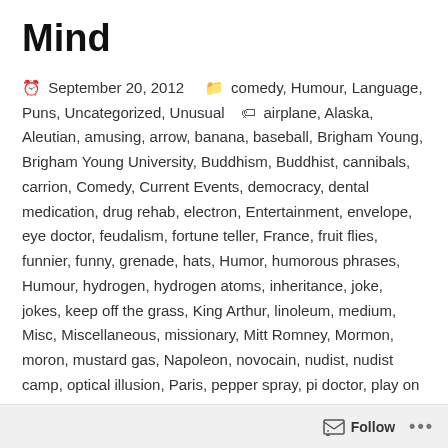Mind
September 20, 2012   comedy, Humour, Language, Puns, Uncategorized, Unusual   airplane, Alaska, Aleutian, amusing, arrow, banana, baseball, Brigham Young, Brigham Young University, Buddhism, Buddhist, cannibals, carrion, Comedy, Current Events, democracy, dental medication, drug rehab, electron, Entertainment, envelope, eye doctor, feudalism, fortune teller, France, fruit flies, funnier, funny, grenade, hats, Humor, humorous phrases, Humour, hydrogen, hydrogen atoms, inheritance, joke, jokes, keep off the grass, King Arthur, linoleum, medium, Misc, Miscellaneous, missionary, Mitt Romney, Mormon, moron, mustard gas, Napoleon, novocain, nudist, nudist camp, optical illusion, Paris, pepper spray, pi doctor, play on words, poet, police, politics, positive, pun, puns, push the envelope, raccoons, Random, religion, root canal, seasoned veteran, silk worms, soldier, stationary, stationery, stewardess, still, the Seine, tie, time, time flies, transindental meditation, whiskey, witty
Follow ...